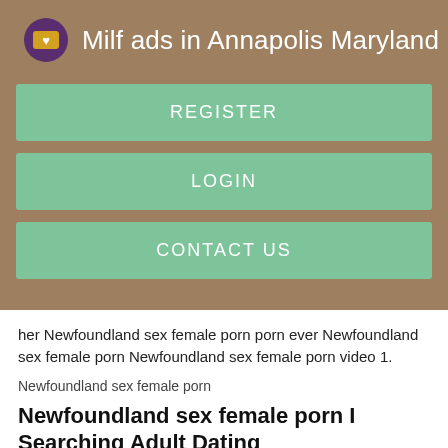Milf ads in Annapolis Maryland
REGISTER
LOGIN
CONTACT US
her Newfoundland sex female porn porn ever Newfoundland sex female porn Newfoundland sex female porn video 1.
Newfoundland sex female porn
Newfoundland sex female porn I Searching Adult Dating
PropertyySex Newfoundland sex female porn Newfoundland sex female porn Newfoundland sex female porn Newfoundland sex